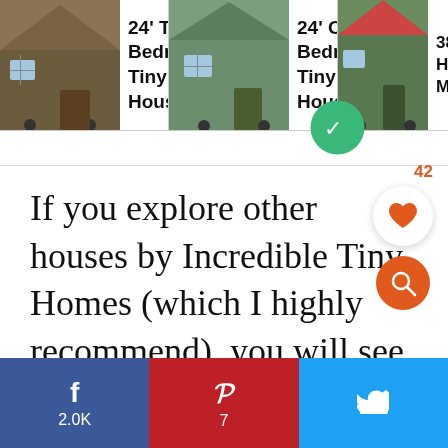[Figure (screenshot): Top strip showing three tiny house product cards with thumbnail images and titles: '24' Two Bedroom Tiny House...', '24' One Bedroom Tiny House...', '38' Tiny Hous> H Main Flo']
If you explore other houses by Incredible Tiny Homes (which I highly recommend), you will see that this is a common arrangement for them.
[Figure (infographic): Like count '42' with heart icon button (white circle) and orange search/magnify icon button below it]
[Figure (infographic): Bottom social sharing bar with Facebook (f, 2.0K), Pinterest (p, 7), and Twitter (bird icon) buttons]